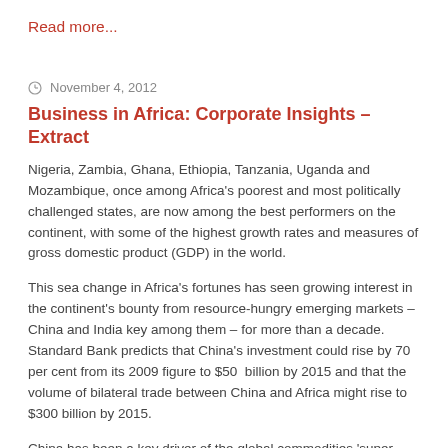Read more...
November 4, 2012
Business in Africa: Corporate Insights – Extract
Nigeria, Zambia, Ghana, Ethiopia, Tanzania, Uganda and Mozambique, once among Africa's poorest and most politically challenged states, are now among the best performers on the continent, with some of the highest growth rates and measures of gross domestic product (GDP) in the world.
This sea change in Africa's fortunes has seen growing interest in the continent's bounty from resource-hungry emerging markets – China and India key among them – for more than a decade. Standard Bank predicts that China's investment could rise by 70 per cent from its 2009 figure to $50 billion by 2015 and that the volume of bilateral trade between China and Africa might rise to $300 billion by 2015.
China has been a key driver of the global commodities 'super cycle' that has been turning since the dawn of the new century. The heightened demand